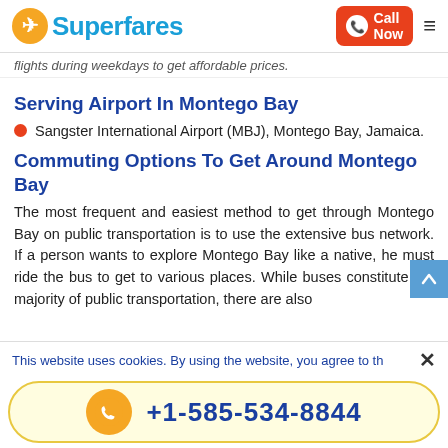Superfares | Call Now
flights during weekdays to get affordable prices.
Serving Airport In Montego Bay
Sangster International Airport (MBJ), Montego Bay, Jamaica.
Commuting Options To Get Around Montego Bay
The most frequent and easiest method to get through Montego Bay on public transportation is to use the extensive bus network. If a person wants to explore Montego Bay like a native, he must ride the bus to get to various places. While buses constitute the majority of public transportation, there are also...
This website uses cookies. By using the website, you agree to th...
+1-585-534-8844